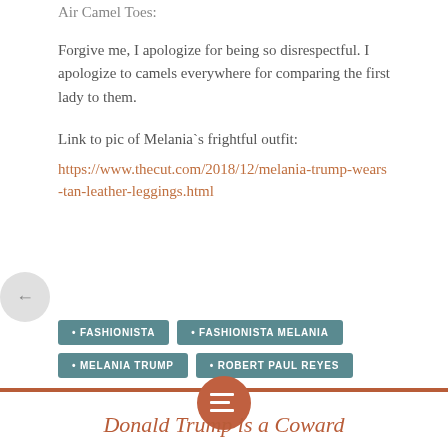Air Camel Toes:
Forgive me, I apologize for being so disrespectful. I apologize to camels everywhere for comparing the first lady to them.
Link to pic of Melania`s frightful outfit:
https://www.thecut.com/2018/12/melania-trump-wears-tan-leather-leggings.html
• FASHIONISTA
• FASHIONISTA MELANIA
• MELANIA TRUMP
• ROBERT PAUL REYES
Donald Trump is a Coward